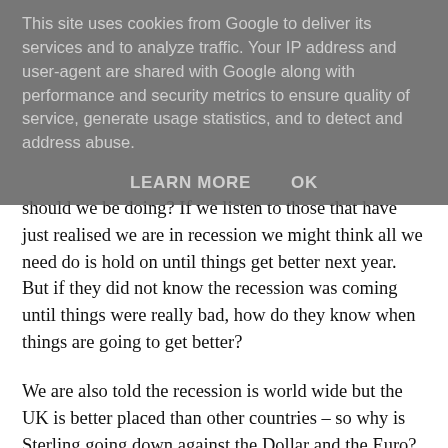This site uses cookies from Google to deliver its services and to analyze traffic. Your IP address and user-agent are shared with Google along with performance and security metrics to ensure quality of service, generate usage statistics, and to detect and address abuse.
LEARN MORE   OK
should we be doing? If we listen to those that have just realised we are in recession we might think all we need do is hold on until things get better next year. But if they did not know the recession was coming until things were really bad, how do they know when things are going to get better?
We are also told the recession is world wide but the UK is better placed than other countries – so why is Sterling going down against the Dollar and the Euro?
While we need to listen to what the ‘experts’ are saying we also need to get on and make the best of the situation.
In stormy times cash is king, so close attention must be paid to making sure cash is closely controlled. Instead of the profit